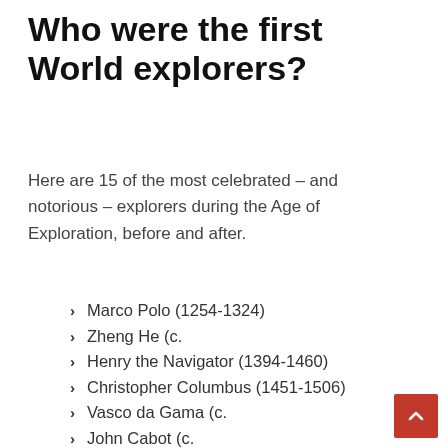Who were the first World explorers?
Here are 15 of the most celebrated – and notorious – explorers during the Age of Exploration, before and after.
Marco Polo (1254-1324)
Zheng He (c.
Henry the Navigator (1394-1460)
Christopher Columbus (1451-1506)
Vasco da Gama (c.
John Cabot (c.
Pedro Álvares Cabral (c.
Amerigo Vespucci (1454-1512)